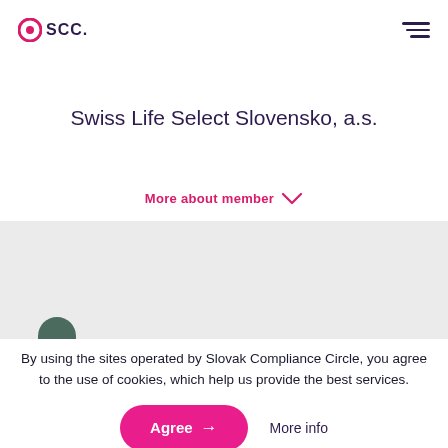SCC. [logo] [hamburger menu]
Swiss Life Select Slovensko, a.s.
More about member ↓
[Figure (photo): Gray section with partial avatar/person silhouette visible at bottom]
By using the sites operated by Slovak Compliance Circle, you agree to the use of cookies, which help us provide the best services.
Agree → More info